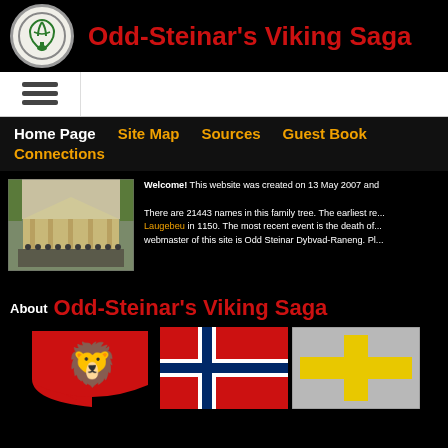Odd-Steinar's Viking Saga
[Figure (logo): Circular logo with green tree/leaf motif on light background]
Odd-Steinar's Viking Saga
[Figure (other): Hamburger menu icon (three horizontal lines)]
Home Page
Site Map
Sources
Guest Book
Connections
[Figure (photo): Black and white or sepia photograph of a building with people standing in front]
Welcome! This website was created on 13 May 2007 and... There are 21443 names in this family tree. The earliest re... Laugebeu in 1150. The most recent event is the death of... webmaster of this site is Odd Steinar Dybvad-Raneng. Pl...
About Odd-Steinar's Viking Saga
[Figure (illustration): Three heraldic shields/flags: red shield with golden lion (Rogaland coat of arms), Norwegian flag (red with blue-outlined white cross), and grey shield with yellow cross (Crusader/Jerusalem cross)]